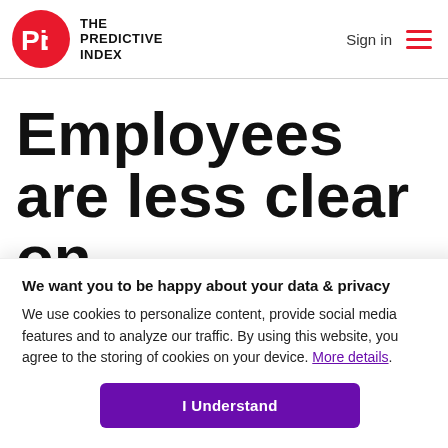THE PREDICTIVE INDEX | Sign in
Employees are less clear on
We want you to be happy about your data & privacy
We use cookies to personalize content, provide social media features and to analyze our traffic. By using this website, you agree to the storing of cookies on your device. More details.
I Understand